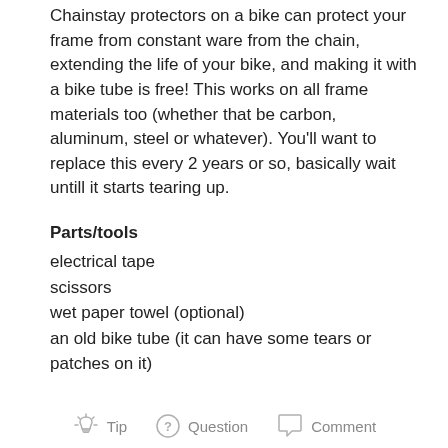Chainstay protectors on a bike can protect your frame from constant ware from the chain, extending the life of your bike, and making it with a bike tube is free! This works on all frame materials too (whether that be carbon, aluminum, steel or whatever). You'll want to replace this every 2 years or so, basically wait untill it starts tearing up.
Parts/tools
electrical tape
scissors
wet paper towel (optional)
an old bike tube (it can have some tears or patches on it)
Tip   Question   Comment